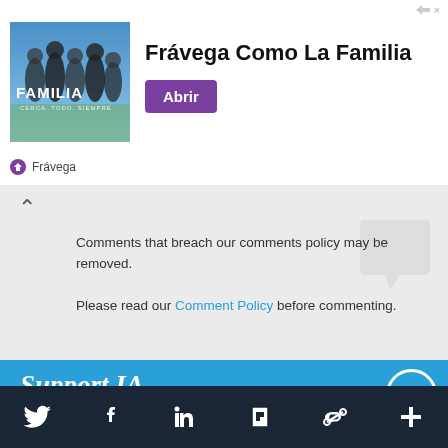[Figure (screenshot): Advertisement banner for Frávega 'Como La Familia' with photo of people playing sports, brand name, and purple 'Abrir' button]
Comments that breach our comments policy may be removed. Please read our Comment Policy before commenting.
Support IA
Subscribe to IA and investigate Australia today.
Close   Subscribe   Donate
[Figure (screenshot): Footer navigation bar with Twitter, Facebook, LinkedIn, Flipboard, share link, and plus icons]